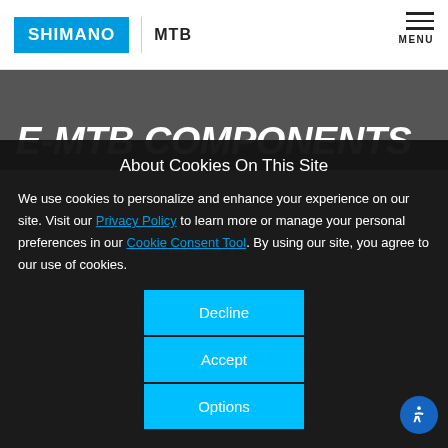[Figure (logo): Shimano logo in blue rectangle with white text, followed by vertical divider and MTB text]
E-MTB COMPONENTS
About Cookies On This Site
We use cookies to personalize and enhance your experience on our site. Visit our Privacy Policy to learn more or manage your personal preferences in our Cookie Consent Tool. By using our site, you agree to our use of cookies.
Decline
Accept
Options